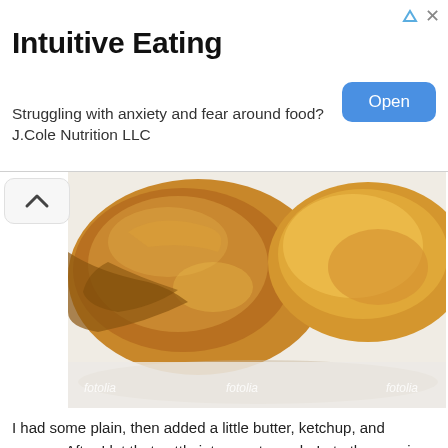[Figure (other): Advertisement banner: Intuitive Eating - Struggling with anxiety and fear around food? J.Cole Nutrition LLC, with an Open button]
[Figure (photo): Close-up photo of baked potatoes on a white plate, with fotolia watermarks]
I had some plain, then added a little butter, ketchup, and pepper. After I let that settle into my stomach, I ate the veggies, which were delicious. I didn't stuff myself (I took part of the potato home, but ate it almost as soon as we got back). I had the soluble fiber first, then the insoluble broccoli et al. I am pretty sure broccoli is another trigger for my stomach acting up.
I will *definitely* keep y'all updated on this.